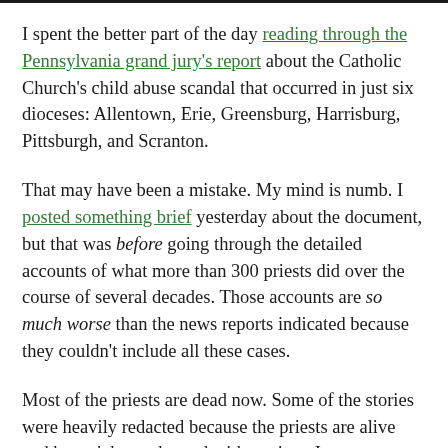I spent the better part of the day reading through the Pennsylvania grand jury's report about the Catholic Church's child abuse scandal that occurred in just six dioceses: Allentown, Erie, Greensburg, Harrisburg, Pittsburgh, and Scranton.
That may have been a mistake. My mind is numb. I posted something brief yesterday about the document, but that was before going through the detailed accounts of what more than 300 priests did over the course of several decades. Those accounts are so much worse than the news reports indicated because they couldn't include all these cases.
Most of the priests are dead now. Some of the stories were heavily redacted because the priests are alive and haven't been charged with a crime. In some cases, the statute of limitations has long expired. But this was always about documenting the abuses more than anything. When you read